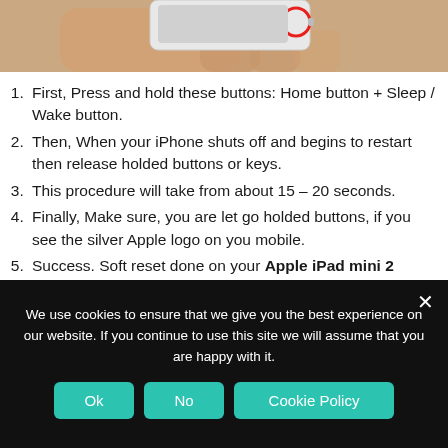[Figure (photo): Hand holding an iPhone/iPad device, partial view of fingers and device top with a red circle highlighting the Sleep/Wake button area]
First, Press and hold these buttons: Home button + Sleep / Wake button.
Then, When your iPhone shuts off and begins to restart then release holded buttons or keys.
This procedure will take from about 15 – 20 seconds.
Finally, Make sure, you are let go holded buttons, if you see the silver Apple logo on you mobile.
Success. Soft reset done on your Apple iPad mini 2 64GB phone.
We use cookies to ensure that we give you the best experience on our website. If you continue to use this site we will assume that you are happy with it.